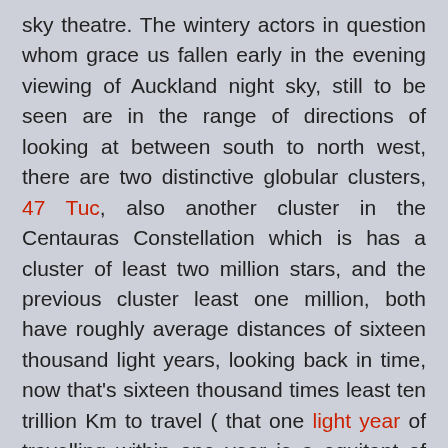sky theatre.  The wintery actors in question whom grace us fallen early in the evening viewing of Auckland night sky,  still to be seen are in the range of directions of looking at between south to north west,  there are two distinctive globular clusters, 47 Tuc, also another cluster in the Centauras Constellation  which is has a cluster of least two million stars, and the previous cluster least one million,  both have roughly average distances of sixteen thousand light years, looking back in time, now that's sixteen thousand times least ten trillion Km to travel ( that one light year of travelling within one year is a equitant  of least ten trillion Kilometres in distance).
Other actors in the night sky is the Jewel box, aka Kappa Crucis which is above the constellation Crux,  also the from it the